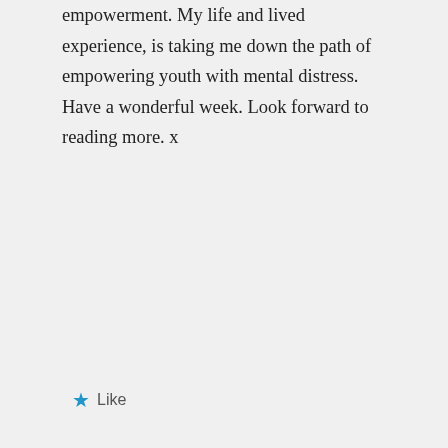empowerment. My life and lived experience, is taking me down the path of empowering youth with mental distress. Have a wonderful week. Look forward to reading more. x
Like
Patti Clark on June 5, 2013 at 6:13 am
Privacy & Cookies: This site uses cookies. By continuing to use this website, you agree to their use.
To find out more, including how to control cookies, see here: Cookie Policy
Close and accept
http://www.ngjamworkshops.co.nz/n